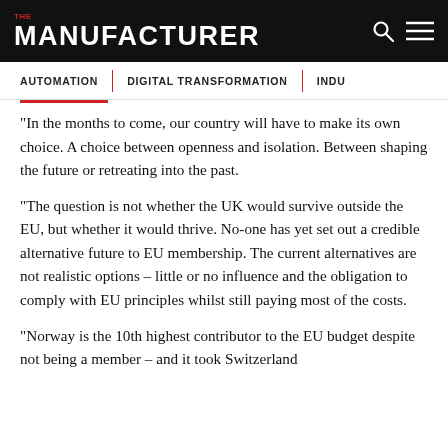THE MANUFACTURER
AUTOMATION   DIGITAL TRANSFORMATION   INDU
“In the months to come, our country will have to make its own choice. A choice between openness and isolation. Between shaping the future or retreating into the past.
“The question is not whether the UK would survive outside the EU, but whether it would thrive. No-one has yet set out a credible alternative future to EU membership. The current alternatives are not realistic options – little or no influence and the obligation to comply with EU principles whilst still paying most of the costs.
“Norway is the 10th highest contributor to the EU budget despite not being a member – and it took Switzerland